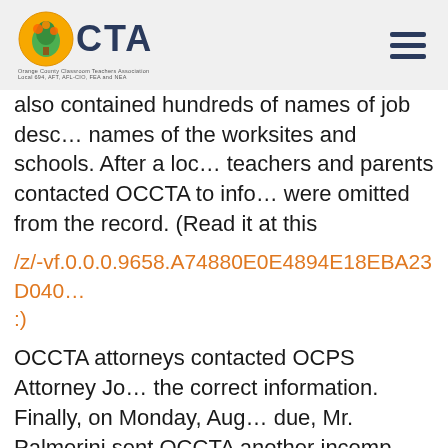OCTA
also contained hundreds of names of job descriptions, names of the worksites and schools. After a local teachers and parents contacted OCCTA to inform were omitted from the record. (Read it at this
/z/-vf.0.0.0.9658.A74880E0E4894E18EBA23D040... :)
OCCTA attorneys contacted OCPS Attorney Jo the correct information. Finally, on Monday, Aug due, Mr. Palmerini sent OCCTA another incomp
/z/- vf.0.0.0.9659.40F9DAC8300F44E46BA8419E8455...
OCCTA condemns the District's lack of transpa